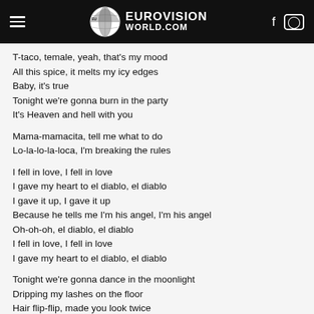EUROVISION WORLD.COM
T-taco, temale, yeah, that's my mood
All this spice, it melts my icy edges
Baby, it's true
Tonight we're gonna burn in the party
It's Heaven and hell with you
Mama-mamacita, tell me what to do
Lo-la-lo-la-loca, I'm breaking the rules
I fell in love, I fell in love
I gave my heart to el diablo, el diablo
I gave it up, I gave it up
Because he tells me I'm his angel, I'm his angel
Oh-oh-oh, el diablo, el diablo
I fell in love, I fell in love
I gave my heart to el diablo, el diablo
Tonight we're gonna dance in the moonlight
Dripping my lashes on the floor
Hair flip-flip, made you look twice
Touch me, touch me, mi amor